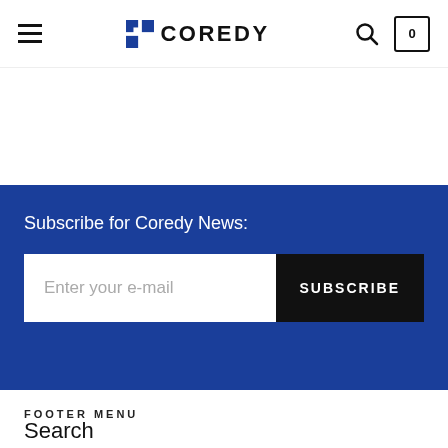COREDY
Subscribe for Coredy News:
Enter your e-mail | SUBSCRIBE
FOOTER MENU
Search
About Us